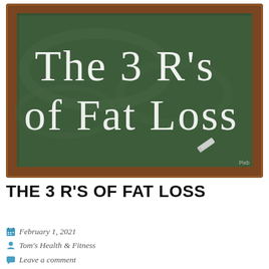[Figure (photo): A green chalkboard with a wooden frame. Written in white chalk lettering: 'The 3 R's of Fat Loss'. A small piece of chalk rests on the chalkboard ledge. A small watermark 'Pixb' is visible in the bottom right corner.]
THE 3 R'S OF FAT LOSS
February 1, 2021
Tom's Health & Fitness
Leave a comment